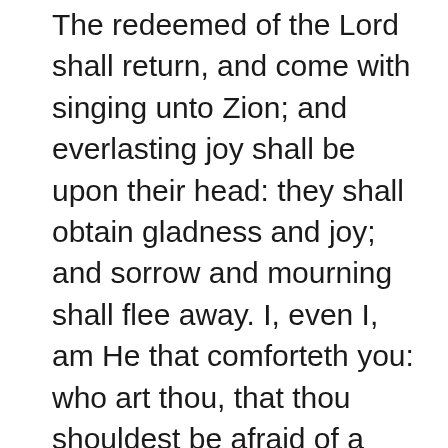The redeemed of the Lord shall return, and come with singing unto Zion; and everlasting joy shall be upon their head: they shall obtain gladness and joy; and sorrow and mourning shall flee away. I, even I, am He that comforteth you: who art thou, that thou shouldest be afraid of a man that shall die, and of the son of man which shall be made as grass; and forgettest the Lord thy Maker; … and hast feared continually every day because of the fury of the oppressor, as if he were ready to destroy? and where is the fury of the oppressor? The captive exile hasteneth that he may be loosed, and that he should not die in the pit, nor that his bread should fail. But I am the Lord thy God, that divided the